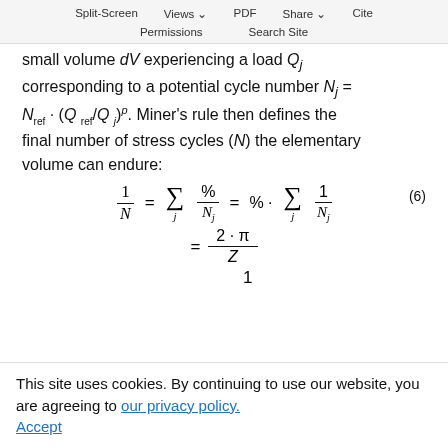Split-Screen  Views  PDF  Share  Cite  Permissions  Search Site
small volume dV experiencing a load Qj corresponding to a potential cycle number Nj = N_ref · (Q_ref/Q_j)^p. Miner's rule then defines the final number of stress cycles (N) the elementary volume can endure:
(6)
This site uses cookies. By continuing to use our website, you are agreeing to our privacy policy. Accept